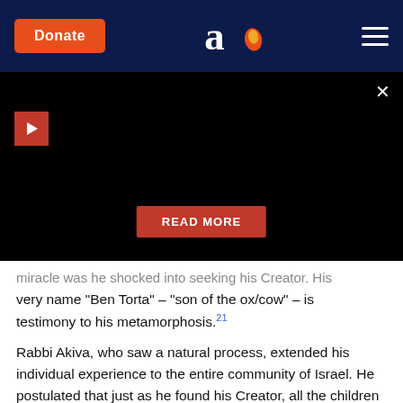Donate | [Aish logo] | [menu]
[Figure (screenshot): Black video panel with play button (red square with white triangle), close X button, and READ MORE red button overlay]
miracle was he shocked into seeking his Creator. His very name "Ben Torta" – "son of the ox/cow" – is testimony to his metamorphosis.21
Rabbi Akiva, who saw a natural process, extended his individual experience to the entire community of Israel. He postulated that just as he found his Creator, all the children of Israel would find themselves, and join God in the partnership which he offered them all those years ago.